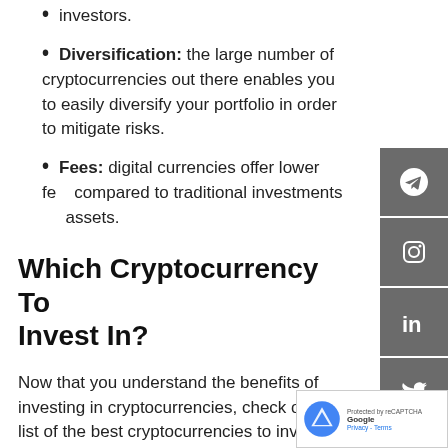investors.
Diversification: the large number of cryptocurrencies out there enables you to easily diversify your portfolio in order to mitigate risks.
Fees: digital currencies offer lower fees compared to traditional investments and assets.
Which Cryptocurrency To Invest In?
Now that you understand the benefits of investing in cryptocurrencies, check out the list of the best cryptocurrencies to invest in 2020. This list is based on the potential of these cryptocurrencies to show sustainable growth in the months ahead.